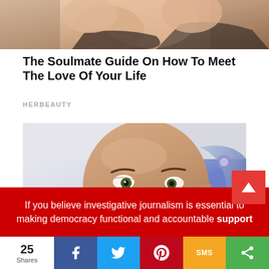[Figure (photo): Partially visible photo of people at top of page, cropped]
The Soulmate Guide On How To Meet The Love Of Your Life
HERBEAUTY
[Figure (photo): Close-up photo of Sophia the humanoid robot with realistic face, looking sideways]
If you believe investigative journalism is essential to making democracy functional and accountable support
25 Shares